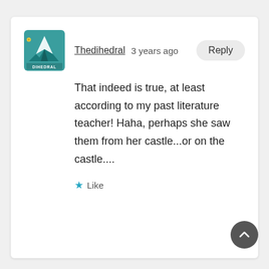[Figure (logo): Dihedral brand logo: mountain peaks graphic on teal background with 'DIHEDRAL' text below]
Thedihedral   3 years ago
Reply
That indeed is true, at least according to my past literature teacher! Haha, perhaps she saw them from her castle...or on the castle....
Like